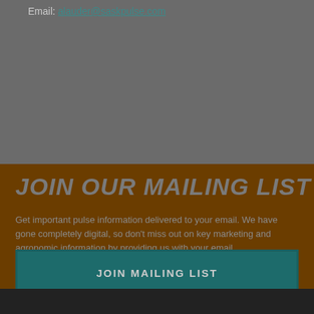Email: alauder@saskpulse.com
JOIN OUR MAILING LIST
Get important pulse information delivered to your email. We have gone completely digital, so don't miss out on key marketing and agronomic information by providing us with your email.
JOIN MAILING LIST